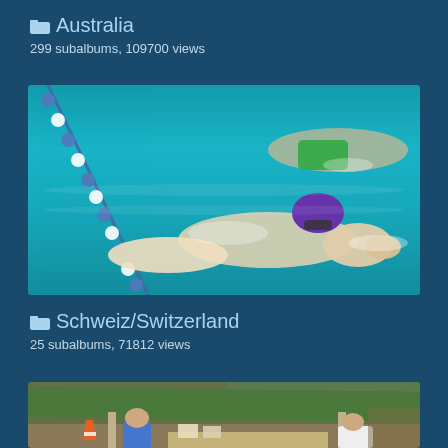Australia
299 subalbums, 109700 views
[Figure (photo): Two swimmers doing freestyle stroke in a swimming pool with blue water and a lane divider rope on the left side]
Schweiz/Switzerland
25 subalbums, 71812 views
[Figure (photo): A green tent canopy with people sitting underneath at what appears to be an outdoor event; orange traffic cone visible on the left]